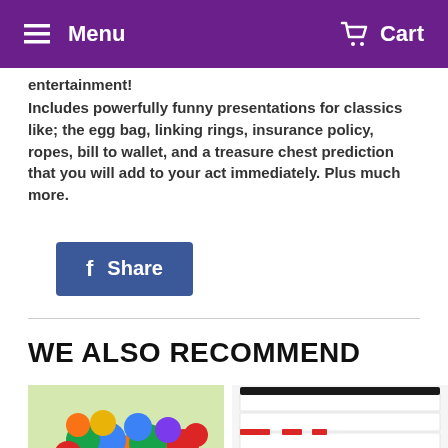Menu  Cart
entertainment!
Includes powerfully funny presentations for classics like; the egg bag, linking rings, insurance policy, ropes, bill to wallet, and a treasure chest prediction that you will add to your act immediately. Plus much more.
[Figure (other): Facebook Share button with 'f' icon and 'Share' text on blue background]
WE ALSO RECOMMEND
[Figure (photo): Colorful sponge balls in orange, blue, green, yellow, red, purple colors piled together on light green background]
[Figure (photo): Stack of white cards/papers with red markings and a black wand or rod on top]